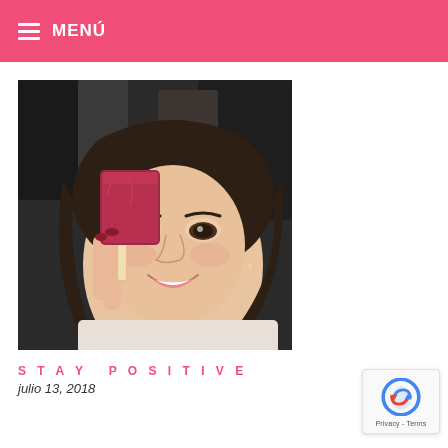MENÚ
[Figure (photo): A smiling woman with dark hair holding a red/berry popsicle in front of her eye, taken inside a car]
STAY POSITIVE
julio 13, 2018